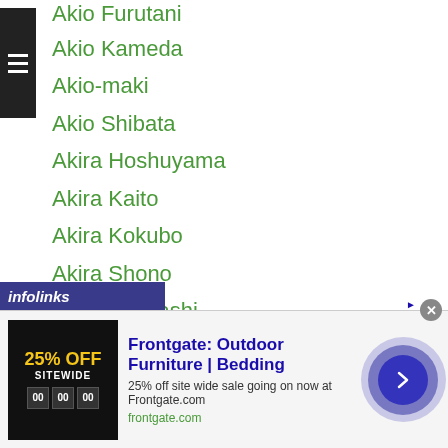Akio Furutani
Akio Kameda
Akio-maki
Akio Shibata
Akira Hoshuyama
Akira Kaito
Akira Kokubo
Akira Shono
Akira Yaegashi
Akira Yamane
Akiyoshi Kanazawa
AK Promotions
Akram Jafwi
Akzhol Sulaimanbek Uulu
Ala
ALA Boxing
[Figure (screenshot): Advertisement banner for Frontgate: Outdoor Furniture | Bedding. Shows 25% off site wide sale at Frontgate.com with product image and navigation arrow.]